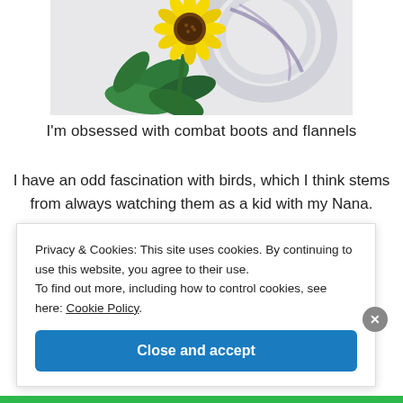[Figure (illustration): A painting/illustration of a sunflower with green leaves and a blurred circular swirl in the background, shown cropped at the top of the page on a light gray background.]
I'm obsessed with combat boots and flannels
I have an odd fascination with birds, which I think stems from always watching them as a kid with my Nana.
Privacy & Cookies: This site uses cookies. By continuing to use this website, you agree to their use.
To find out more, including how to control cookies, see here: Cookie Policy
Close and accept